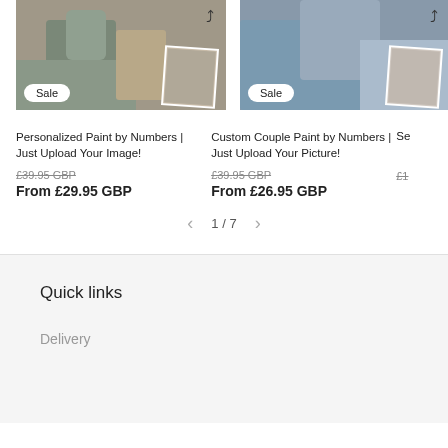[Figure (photo): Product card image: person with dog, paint by numbers style, with Sale badge and thumbnail overlay]
Personalized Paint by Numbers | Just Upload Your Image!
£39.95 GBP
From £29.95 GBP
[Figure (photo): Product card image: couple portrait, paint by numbers style, with Sale badge and thumbnail overlay]
Custom Couple Paint by Numbers | Just Upload Your Picture!
£39.95 GBP
From £26.95 GBP
[Figure (photo): Partial third product card, partially cut off, showing Se... and £1...]
1 / 7
Quick links
Delivery